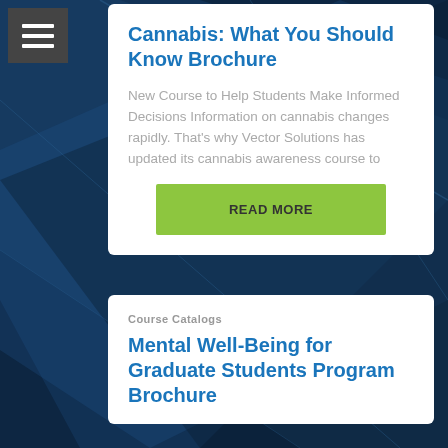Cannabis: What You Should Know Brochure
New Course to Help Students Make Informed Decisions Information on cannabis changes rapidly. That's why Vector Solutions has updated its cannabis awareness course to
READ MORE
Course Catalogs
Mental Well-Being for Graduate Students Program Brochure